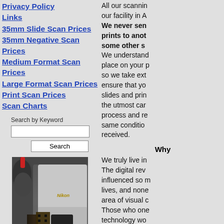Privacy Policy
Links
35mm Slide Scan Prices
35mm Negative Scan Prices
Medium Format Scan Prices
Large Format Scan Prices
Print Scan Prices
Scan Charts
Search by Keyword
[Figure (photo): Photo of a scanner with a rubber bulb/blower and film negatives being inserted, Nikon branding visible]
All our scannin... our facility in A... We never sen... prints to anot... some other s... We understand... place on your p... so we take ext... ensure that yo... slides and prin... the utmost car... process and re... same conditio... received.
Why
We truly live in... The digital rev... influenced so m... lives, and none... area of visual c... Those who one... technology wo... place of film m... those words to...